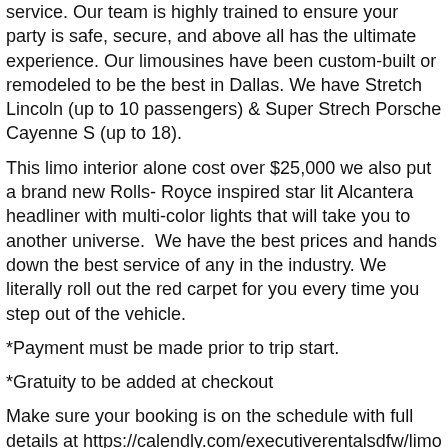service. Our team is highly trained to ensure your party is safe, secure, and above all has the ultimate experience. Our limousines have been custom-built or remodeled to be the best in Dallas. We have Stretch Lincoln (up to 10 passengers) & Super Strech Porsche Cayenne S (up to 18).
This limo interior alone cost over $25,000 we also put a brand new Rolls- Royce inspired star lit Alcantera headliner with multi-color lights that will take you to another universe. We have the best prices and hands down the best service of any in the industry. We literally roll out the red carpet for you every time you step out of the vehicle.
*Payment must be made prior to trip start.
*Gratuity to be added at checkout
Make sure your booking is on the schedule with full details at https://calendly.com/executiverentalsdfw/limo